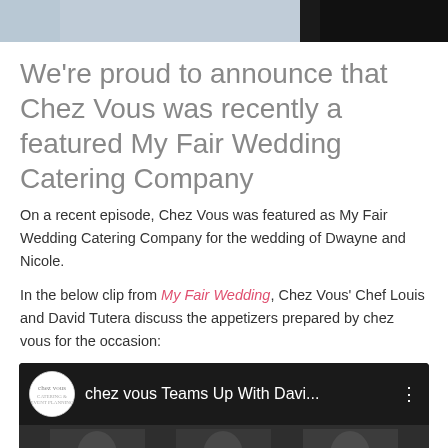[Figure (photo): Top banner image showing people, partially cropped at top of page]
We're proud to announce that Chez Vous was recently a featured My Fair Wedding Catering Company
On a recent episode, Chez Vous was featured as My Fair Wedding Catering Company for the wedding of Dwayne and Nicole.
In the below clip from My Fair Wedding, Chez Vous' Chef Louis and David Tutera discuss the appetizers prepared by chez vous for the occasion:
[Figure (screenshot): YouTube video thumbnail showing 'chez vous Teams Up With Davi...' with chez vous logo and video preview of people]